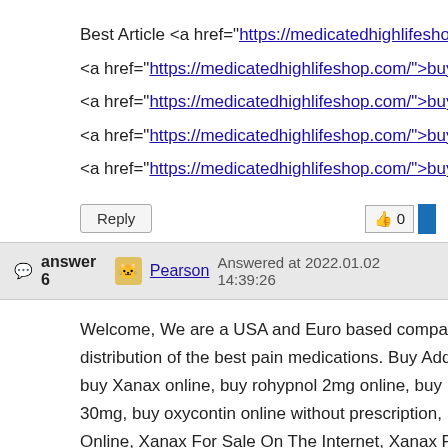Best Article <a href="https://medicatedhighlifeshop.com/">buy Med
<a href="https://medicatedhighlifeshop.com/">buy Hash online</a>
<a href="https://medicatedhighlifeshop.com/">buy gelato marijuana
<a href="https://medicatedhighlifeshop.com/">buy white runtz onli
<a href="https://medicatedhighlifeshop.com/">buy Candy kush onli
Reply | 👍 0
answer 6 | Pearson | Answered at 2022.01.02 14:39:26
Welcome, We are a USA and Euro based company specializing in distribution of the best pain medications. Buy Adderall 30mg online, buy Xanax online, buy rohypnol 2mg online, buy Roxicodone 30mg, buy oxycontin online without prescription, Buy Hydrocodone Online, Xanax For Sale On The Internet, Xanax For Sale, Buy DMT, Cocaine For Sale, Buy JWH-018 Online, Buy Benzodiazepines Online, For Sale Online, Marijuana For Sale, Marijuana For Sale Online, B